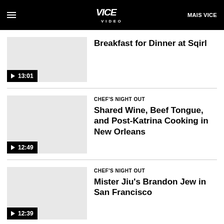VICE VIDEO | MAIS VICE
[Figure (screenshot): Video thumbnail placeholder grey rectangle with play button and duration 13:01]
Breakfast for Dinner at Sqirl
[Figure (screenshot): Video thumbnail placeholder grey rectangle with play button and duration 12:49]
CHEF'S NIGHT OUT
Shared Wine, Beef Tongue, and Post-Katrina Cooking in New Orleans
[Figure (screenshot): Video thumbnail placeholder grey rectangle with play button and duration 12:39]
CHEF'S NIGHT OUT
Mister Jiu's Brandon Jew in San Francisco